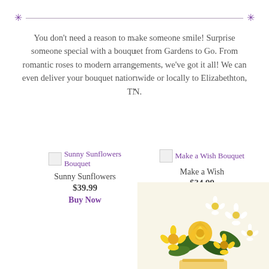You don't need a reason to make someone smile! Surprise someone special with a bouquet from Gardens to Go. From romantic roses to modern arrangements, we've got it all! We can even deliver your bouquet nationwide or locally to Elizabethton, TN.
[Figure (other): Broken image placeholder labeled 'Sunny Sunflowers Bouquet' with product name 'Sunny Sunflowers', price $39.99, and Buy Now button]
[Figure (other): Broken image placeholder labeled 'Make a Wish Bouquet' with product name 'Make a Wish', price $34.99, and Buy Now button]
[Figure (photo): Photo of a yellow and white flower bouquet with roses and daisies, partially visible at the bottom right of the page]